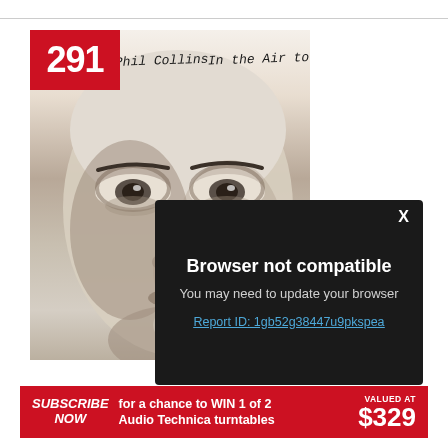[Figure (photo): Black and white close-up of Phil Collins face from the 'In the Air Tonight' album cover, with handwritten text 'Phil Collins In the Air Tonight' at the top. A red badge with '291' overlays the top-left corner.]
[Figure (screenshot): Dark popup dialog box with white text 'Browser not compatible', grey subtext 'You may need to update your browser', and a blue underlined link 'Report ID: 1gb52g38447u9pkspea'. An X close button is in the top right corner.]
SUBSCRIBE NOW for a chance to WIN 1 of 2 Audio Technica turntables VALUED AT $329